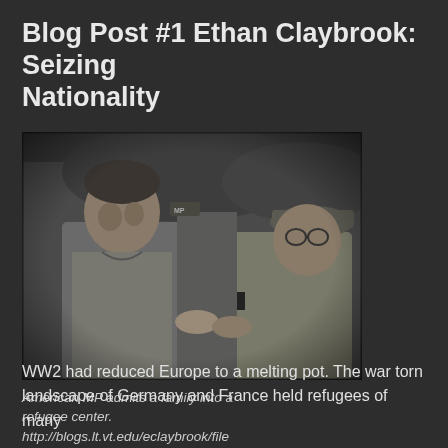Blog Post #1 Ethan Claybrook: Seizing Nationality
[Figure (photo): Black and white photograph of an American MP admitting a family into a refugee center. Two soldiers are shaking hands or engaged in close conversation, one wearing a military police cap and MP armband.]
American MP admits a family into a refugee center. http://blogs.lt.vt.edu/eclaybrook/files/2017/09/Blog-post-1-pic.jpg
WW2 had reduced Europe to a melting pot. The war torn landscape of Germany and France held refugees of many